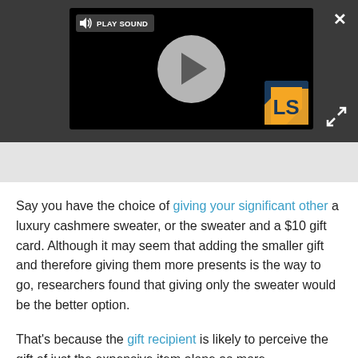[Figure (screenshot): Video player on dark grey background showing a play button circle, a 'PLAY SOUND' label with speaker icon, an LS logo in the bottom right, a close (X) button top right, and an expand arrow bottom right.]
Say you have the choice of giving your significant other a luxury cashmere sweater, or the sweater and a $10 gift card. Although it may seem that adding the smaller gift and therefore giving them more presents is the way to go, researchers found that giving only the sweater would be the better option.
That's because the gift recipient is likely to perceive the gift of just the expensive item alone as more